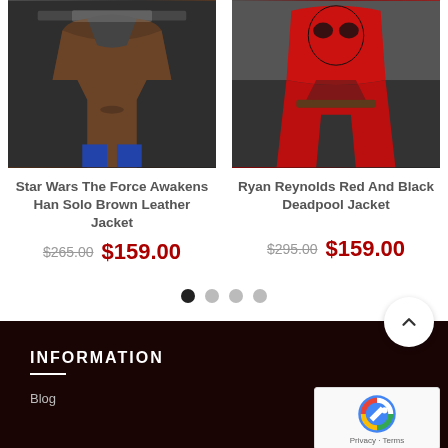[Figure (photo): Photo of Star Wars The Force Awakens Han Solo brown leather jacket worn by model]
[Figure (photo): Photo of Ryan Reynolds in red and black Deadpool jacket costume]
Star Wars The Force Awakens Han Solo Brown Leather Jacket
$265.00  $159.00
Ryan Reynolds Red And Black Deadpool Jacket
$295.00  $159.00
INFORMATION
Blog